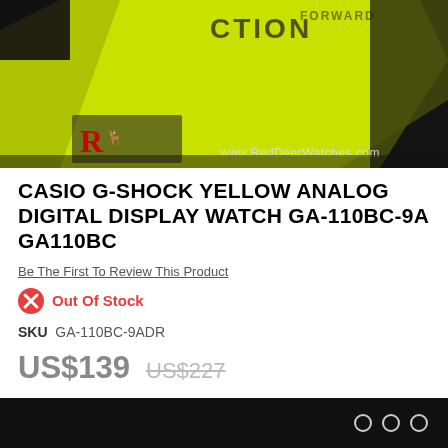[Figure (photo): Product photo of a yellow Casio G-Shock watch with neon yellow/green casing, set against a dark background. Red Deer Watches logo visible in lower left, website URL www.RedDeerWatches.com visible.]
CASIO G-SHOCK YELLOW ANALOG DIGITAL DISPLAY WATCH GA-110BC-9A GA110BC
Be The First To Review This Product
Out Of Stock
SKU  GA-110BC-9ADR
US$139  US$227
ADD TO WISH LIST
ADD TO COMPARE